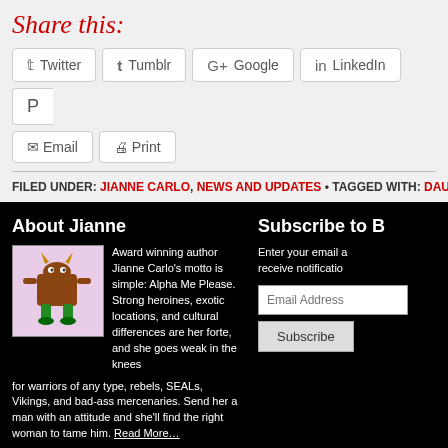Share this:
Twitter  Tumblr  Google  LinkedIn  [Pinterest - clipped]
Email  Print
FILED UNDER: JIANNE CARLO, NEWS AND UPDATES • TAGGED WITH: DAUGH[TER - clipped]
About Jianne
Award winning author Jianne Carlo's motto is simple: Alpha Me Please. Strong heroines, exotic locations, and cultural differences are her forte, and she goes weak in the knees for warriors of any type, rebels, SEALs, Vikings, and bad-ass mercenaries. Send her a man with an attitude and she'll find the right woman to tame him. Read More…
Subscribe to B[log - clipped]
Enter your email a[ddress to] receive notificatio[ns -clipped]
Email Address
Subscribe
+ Return to top of page